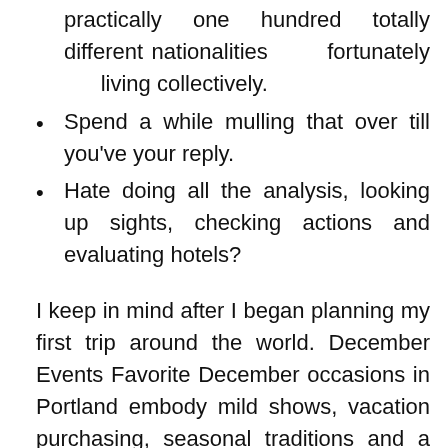practically one hundred totally different nationalities fortunately living collectively.
Spend a while mulling that over till you've your reply.
Hate doing all the analysis, looking up sights, checking actions and evaluating hotels?
I keep in mind after I began planning my first trip around the world. December Events Favorite December occasions in Portland embody mild shows, vacation purchasing, seasonal traditions and a beer festival. July Events July in Portland is a busy time with a wide selection of